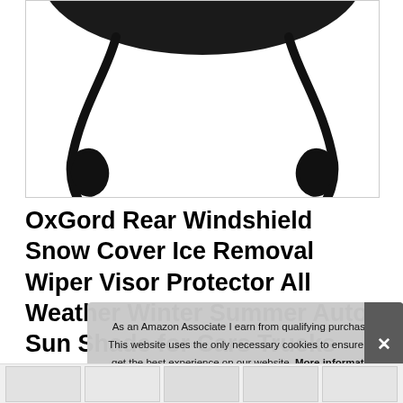[Figure (photo): Bottom portion of a windshield snow cover product image on white background, showing two black drawstring loops hanging down at the sides, with a dark curved shape at the top.]
OxGord Rear Windshield Snow Cover Ice Removal Wiper Visor Protector All Weather Winter Summer Auto Sun Shade for Cars Trucks Vans and SUVs Stop Scraping with a Brush or Shovel
#ad
As an Amazon Associate I earn from qualifying purchases. This website uses the only necessary cookies to ensure you get the best experience on our website. More information
[Figure (photo): Thumbnail strip of product images at the bottom of the page.]